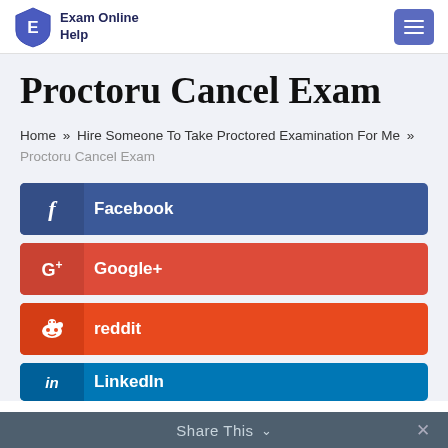Exam Online Help
Proctoru Cancel Exam
Home » Hire Someone To Take Proctored Examination For Me » Proctoru Cancel Exam
Facebook
Google+
reddit
LinkedIn
Share This ∨   ✕